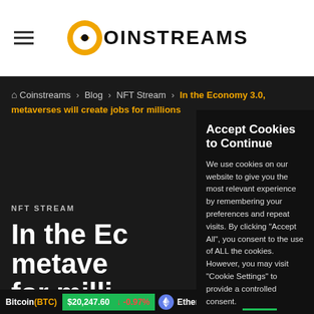Coinstreams logo header with hamburger menu
Coinstreams > Blog > NFT Stream > In the Economy 3.0, metaverses will create jobs for millions
NFT STREAM
In the Ec… metave… for milli…
Accept Cookies to Continue
We use cookies on our website to give you the most relevant experience by remembering your preferences and repeat visits. By clicking "Accept All", you consent to the use of ALL the cookies. However, you may visit "Cookie Settings" to provide a controlled consent.
Cookie Settings | Accept All
Bitcoin (BTC) $20,247.60 ↓ -0.97% | Ethereum (ETH) $1,5...